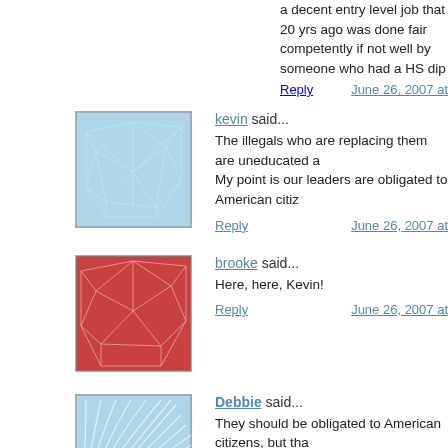a decent entry level job that 20 yrs ago was done fairly competently if not well by someone who had a HS dip...
Reply | June 26, 2007 at...
kevin said...
The illegals who are replacing them are uneducated a... My point is our leaders are obligated to American citiz...
Reply | June 26, 2007 at...
brooke said...
Here, here, Kevin!
Reply | June 26, 2007 at...
Debbie said...
They should be obligated to American citizens, but tha... doesn't appear to be the case. And what was that sing... Spanish by Kennedy. Has he been hitting the bottle ag...